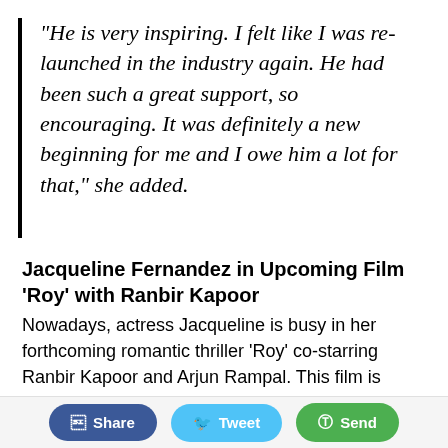"He is very inspiring. I felt like I was re-launched in the industry again. He had been such a great support, so encouraging. It was definitely a new beginning for me and I owe him a lot for that," she added.
Jacqueline Fernandez in Upcoming Film ‘Roy’ with Ranbir Kapoor
Nowadays, actress Jacqueline is busy in her forthcoming romantic thriller ‘Roy’ co-starring Ranbir Kapoor and Arjun Rampal. This film is directed by Vikramjit Singh.
Roy movie is set to released on 13th February, 2015.
Share  Tweet  Send